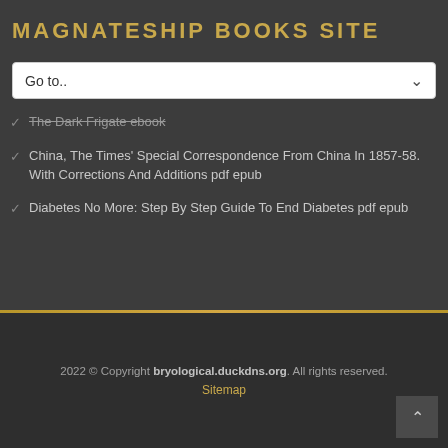MAGNATESHIP BOOKS SITE
[Figure (screenshot): Dropdown navigation element with 'Go to..' placeholder text and down arrow]
The Dark Frigate ebook
China, The Times' Special Correspondence From China In 1857-58. With Corrections And Additions pdf epub
Diabetes No More: Step By Step Guide To End Diabetes pdf epub
2022 © Copyright bryological.duckdns.org. All rights reserved. Sitemap